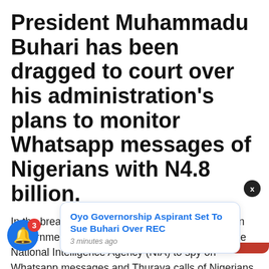President Muhammadu Buhari has been dragged to court over his administration's plans to monitor Whatsapp messages of Nigerians with N4.8 billion.
In the breakdown of the 2021 budget, the Nigerian Government had budgeted the above funds for the National Intelligence Agency (NIA) to spy on Whatsapp messages and Thuraya calls of Nigerians.
...happy wi... Rights and Accountability Project (SERAP) filed a
[Figure (screenshot): Push notification popup: 'Oyo Governorship Aspirant Set To Sue Buhari Over REC' — 3 minutes ago. Blue notification bell icon with badge showing '3'. Dark circle X button.]